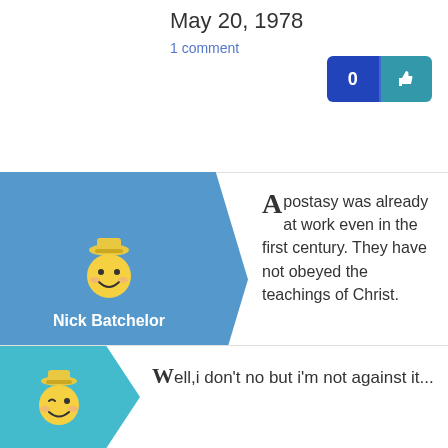May 20, 1978
1 comment
[Figure (other): Like button with count 0 and thumbs up icon]
[Figure (other): Avatar of Nick Batchelor - smiley face with hat on blue background]
Nick Batchelor
Apostasy was already at work even in the first century. They have not obeyed the teachings of Christ.
Share your comment...
Comment
[Figure (other): Avatar of second commenter - winking smiley with hat on teal background]
Well,i don’t no but i’m not against it...